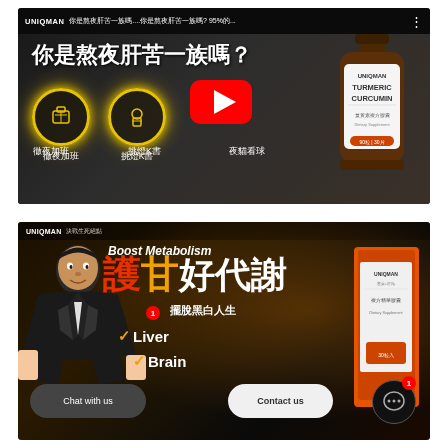[Figure (screenshot): YouTube video thumbnail for UNIQMAN brand showing 'Are you a liver-suffering night owl?' with glowing circles icons for 'working all night', 'burning the midnight oil studying', 'night owl watching sports', and a product bottle of Turmeric Curcumin. Play button in center.]
[Figure (screenshot): UNIQMAN advertisement banner showing 'Boost Metabolism' and '護甘好代謝' (Protect liver good metabolism), '擺脫黑白人生' (Break free from black-and-white life), checkmarks for Liver and Brain, a man in suit, product pack of 薑黃+肝精. Chat with us bubble, Contact us bubble, and messenger icon visible.]